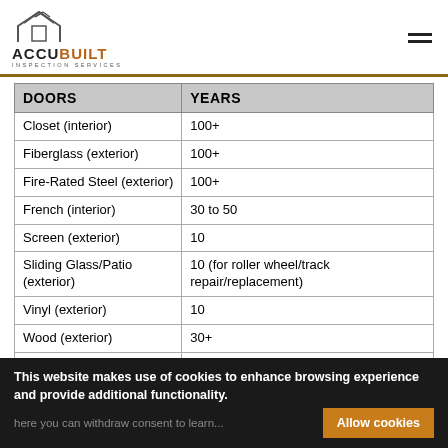ACCUBUILT INSPECTION SERVICES
| DOORS | YEARS |
| --- | --- |
| Closet (interior) | 100+ |
| Fiberglass (exterior) | 100+ |
| Fire-Rated Steel (exterior) | 100+ |
| French (interior) | 30 to 50 |
| Screen (exterior) | 10 |
| Sliding Glass/Patio (exterior) | 10 (for roller wheel/track repair/replacement) |
| Vinyl (exterior) | 10 |
| Wood (exterior) | 30+ |
| Wood (hollow-core interior) | 20 to 30 |
| Wood (solid-core interior) | 30 to 100+ |
This website makes use of cookies to enhance browsing experience and provide additional functionality.